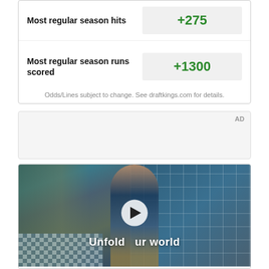| Bet | Odds |
| --- | --- |
| Most regular season hits | +275 |
| Most regular season runs scored | +1300 |
Odds/Lines subject to change. See draftkings.com for details.
AD
[Figure (photo): Video advertisement screenshot showing a young man in a denim jacket standing in front of a tiled wall, with 'Unfold your world' text overlay and a play button in the center.]